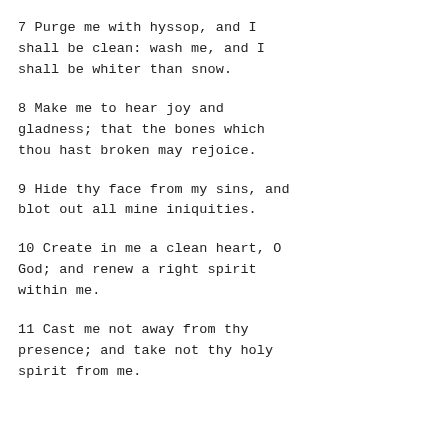7 Purge me with hyssop, and I shall be clean: wash me, and I shall be whiter than snow.
8 Make me to hear joy and gladness; that the bones which thou hast broken may rejoice.
9 Hide thy face from my sins, and blot out all mine iniquities.
10 Create in me a clean heart, O God; and renew a right spirit within me.
11 Cast me not away from thy presence; and take not thy holy spirit from me.